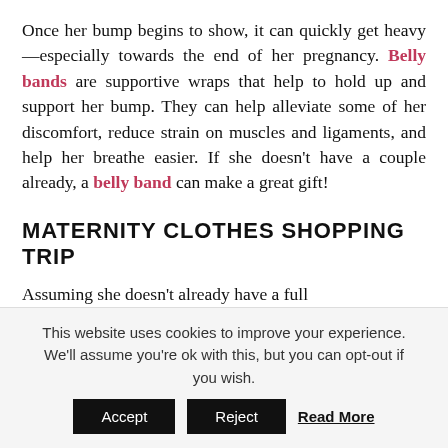Once her bump begins to show, it can quickly get heavy—especially towards the end of her pregnancy. Belly bands are supportive wraps that help to hold up and support her bump. They can help alleviate some of her discomfort, reduce strain on muscles and ligaments, and help her breathe easier. If she doesn't have a couple already, a belly band can make a great gift!
MATERNITY CLOTHES SHOPPING TRIP
Assuming she doesn't already have a full wardrobe, a shopping trip for maternity clothes...
This website uses cookies to improve your experience. We'll assume you're ok with this, but you can opt-out if you wish. Accept Reject Read More